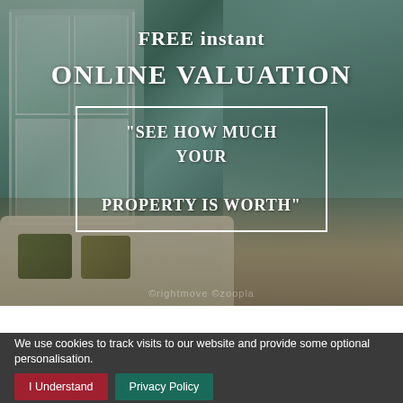[Figure (photo): Interior photo of a stylish living room with teal/green walls, large white-framed windows on the left, a white fireplace mantel on the right, cream sofa with olive green pillows in foreground]
FREE instant
ONLINE VALUATION
"SEE HOW MUCH YOUR PROPERTY IS WORTH"
We use cookies to track visits to our website and provide some optional personalisation.
I Understand
Privacy Policy